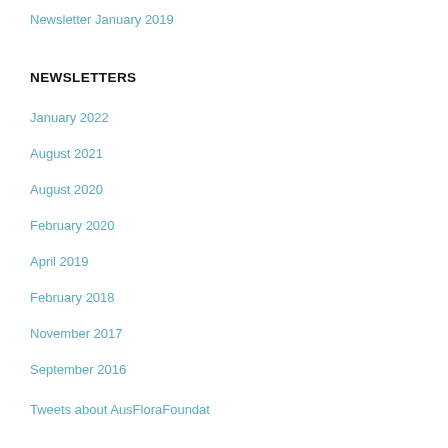Newsletter January 2019
NEWSLETTERS
January 2022
August 2021
August 2020
February 2020
April 2019
February 2018
November 2017
September 2016
Tweets about AusFloraFoundat